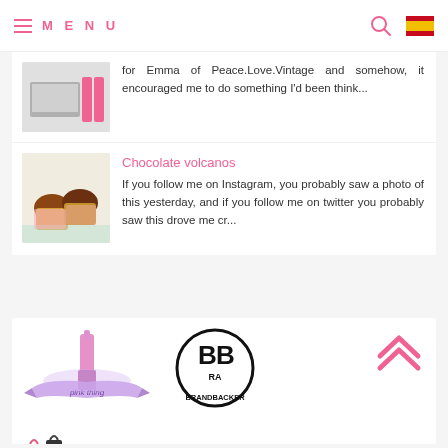MENU
for Emma of Peace.Love.Vintage and somehow, it encouraged me to do something I'd been think...
Chocolate volcanos
If you follow me on Instagram, you probably saw a photo of this yesterday, and if you follow me on twitter you probably saw this drove me cr...
[Figure (logo): Pink Thing beauty blog logo with lipstick illustration and banner ribbon]
[Figure (logo): BrandBacker BB logo in circular design]
[Figure (logo): Upward double chevron arrow in pink]
[Figure (logo): The Shelf influencer marketplace logo with shopping bag icons]
[Figure (logo): InfluenceHer collective logo]